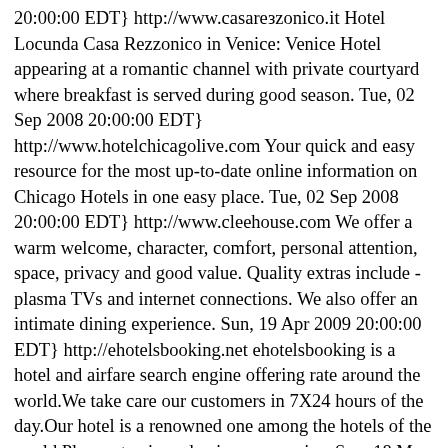20:00:00 EDT} http://www.casarезzonico.it Hotel Locunda Casa Rezzonico in Venice: Venice Hotel appearing at a romantic channel with private courtyard where breakfast is served during good season. Tue, 02 Sep 2008 20:00:00 EDT} http://www.hotelchicagolive.com Your quick and easy resource for the most up-to-date online information on Chicago Hotels in one easy place. Tue, 02 Sep 2008 20:00:00 EDT} http://www.cleehouse.com We offer a warm welcome, character, comfort, personal attention, space, privacy and good value. Quality extras include - plasma TVs and internet connections. We also offer an intimate dining experience. Sun, 19 Apr 2009 20:00:00 EDT} http://ehotelsbooking.net ehotelsbooking is a hotel and airfare search engine offering rate around the world.We take care our customers in 7X24 hours of the day.Our hotel is a renowned one among the hotels of the world.Please step in and enjoy our service. Sun, 18 Mar 2012 20:00:00 EDT} http://www.h4hotels.com/ H4hotels.com offers various 5 star, 4 star, 3 star, budget and cheap hotels to book and compare. We offer our services 200 countries in worldwide. Thu, 12 Sep 2013 20:00:00 EDT} http://www.visitpoland.com Travel to Poland and Reserve Hotel Online! Hotels in Poland: Warsaw, Cracow, Wroclaw, Krakow, Gdansk, Warszawa. Hotels in Poland, SPA, Guided Tours, DMC Poland. Visit Poland! Tue, 02 Sep 2008 20:00:00 EDT} http://www.the-pheasant.co.uk The Pheasant Inn Bassenthwaite Keswick Lake District a hotel in Cumbria ideal for weekend breaks in the Lake District one of the last remaining